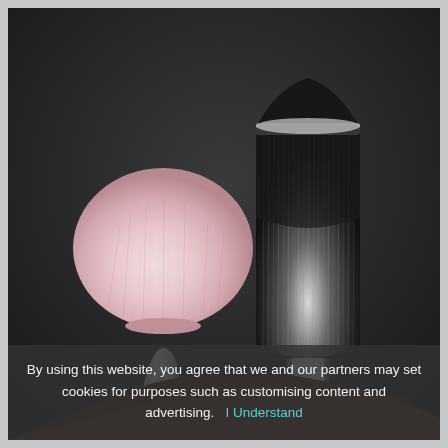[Figure (photo): Two makeup brushes held against a dark background. The left brush has a fluffy rounded pink/white bristle head with a silver metallic handle. The right brush has a flat-top dense black and white bristle head with a longer silver metallic handle.]
By using this website, you agree that we and our partners may set cookies for purposes such as customising content and advertising.   I Understand